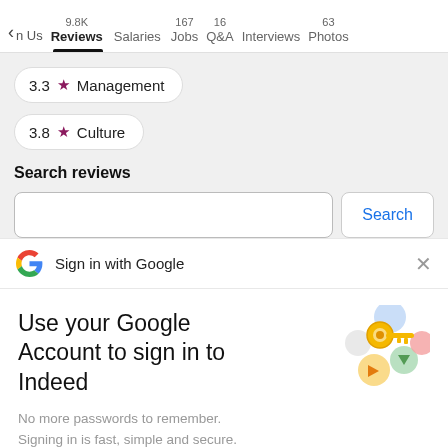< n Us | 9.8K Reviews | Salaries | 167 Jobs | 16 Q&A | Interviews | 63 Photos
3.3 ★ Management
3.8 ★ Culture
Search reviews
Sign in with Google
Use your Google Account to sign in to Indeed
No more passwords to remember. Signing in is fast, simple and secure.
Continue